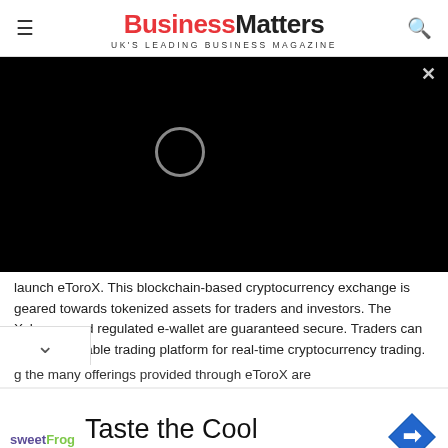BusinessMatters - UK'S LEADING BUSINESS MAGAZINE
[Figure (screenshot): Black video player area with loading spinner circle and close (x) button in top right corner]
launch eToroX. This blockchain-based cryptocurrency exchange is geared towards tokenized assets for traders and investors. The Xchange and regulated e-wallet are guaranteed secure. Traders can enjoy this stable trading platform for real-time cryptocurrency trading.
g the many offerings provided through eToroX are
[Figure (advertisement): Advertisement banner: sweetFrog logo on left, 'Taste the Cool' heading, 'sweetFrog' brand in teal, blue diamond direction sign icon on right]